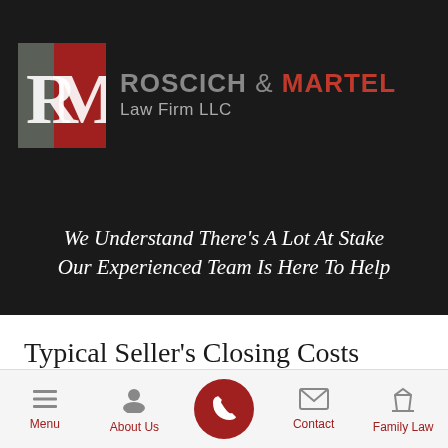[Figure (logo): Roscich & Martel Law Firm LLC logo — RM monogram in grey and red squares on dark background with firm name]
We Understand There's A Lot At Stake
Our Experienced Team Is Here To Help
Typical Seller's Closing Costs
Professional Advice from Naperville Real Estate Attorneys
Menu   About Us   [Call Button]   Contact   Family Law